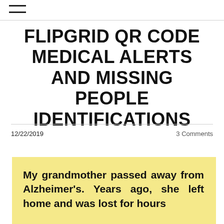☰
FLIPGRID QR CODE MEDICAL ALERTS AND MISSING PEOPLE IDENTIFICATIONS
12/22/2019    3 Comments
My grandmother passed away from Alzheimer's. Years ago, she left home and was lost for hours